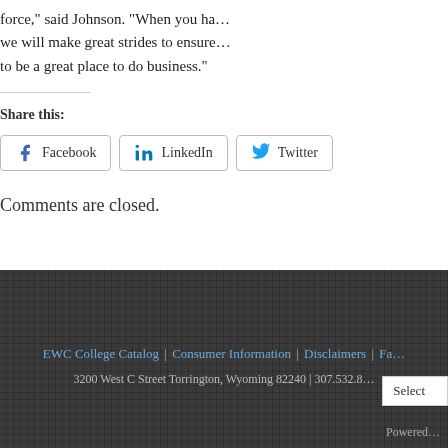force," said Johnson. "When you ha... we will make great strides to ensure... to be a great place to do business."
Share this:
[Figure (other): Social share buttons: Facebook, LinkedIn, Twitter]
Comments are closed.
EWC College Catalog | Consumer Information | Disclaimers | Fa...
3200 West C Street Torrington, Wyoming 82240 | 307.532.8... | Select | Powered...